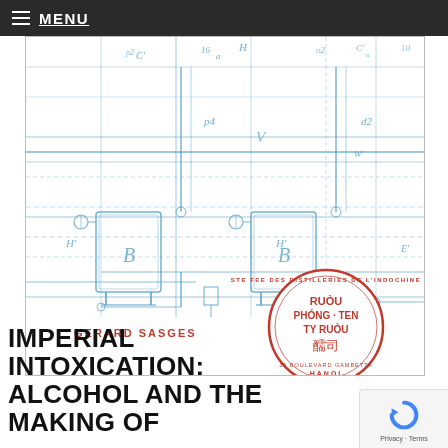MENU
[Figure (illustration): Book cover for 'Imperial Intoxication: Alcohol and the Making of...' by Gerard Sasges. Features a blue technical blueprint/schematic of distillery equipment on a white background, with a red circular stamp reading 'Ste Fee Des Distilleries de l'Indochine - RUOU PHONG TEN TY RUOU - [Chinese characters] - 35 Boulevard Gambetta - HANOI'.]
IMPERIAL INTOXICATION: ALCOHOL AND THE MAKING OF
GERARD SASGES